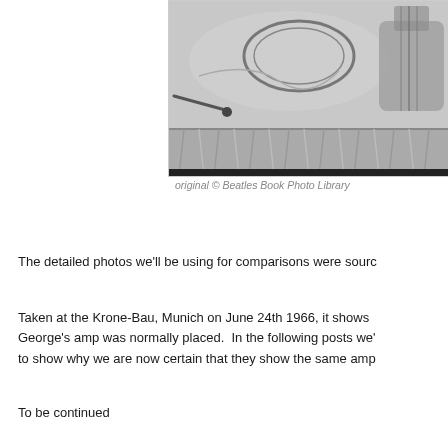[Figure (photo): Black and white photograph showing musical instruments and equipment on a table with a draped cloth, taken at the Krone-Bau, Munich on June 24th 1966]
original © Beatles Book Photo Library
The detailed photos we'll be using for comparisons were sourc
Taken at the Krone-Bau, Munich on June 24th 1966, it shows George's amp was normally placed.  In the following posts we' to show why we are now certain that they show the same amp
To be continued